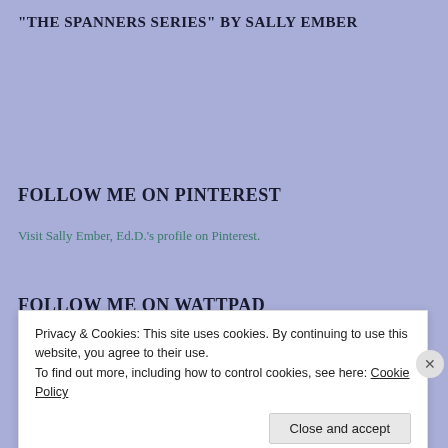“THE SPANNERS SERIES” BY SALLY EMBER
FOLLOW ME ON PINTEREST
Visit Sally Ember, Ed.D.’s profile on Pinterest.
FOLLOW ME ON WATTPAD
http://embed.wattpad.com/follow/SallyEmber/follow/SallyEmber
FEATURED ON “FRESHLY PRESSED”
Privacy & Cookies: This site uses cookies. By continuing to use this website, you agree to their use.
To find out more, including how to control cookies, see here: Cookie Policy
Close and accept